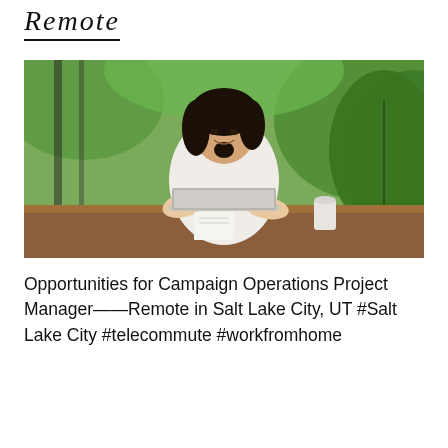Remote
[Figure (photo): Young Asian woman smiling and working on a laptop at a wooden table outdoors, surrounded by green tropical plants and natural light.]
Opportunities for Campaign Operations Project Manager——Remote in Salt Lake City, UT #Salt Lake City #telecommute #workfromhome